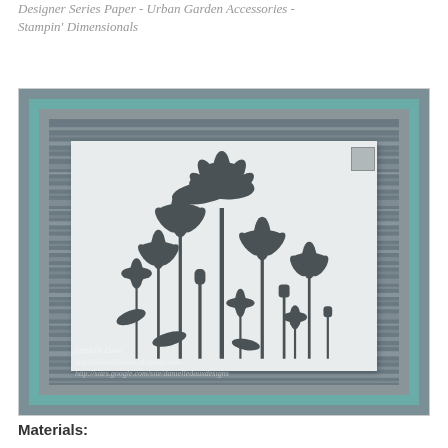Designer Series Paper - Urban Garden Accessories - Stampin' Dimensionals
[Figure (photo): A handmade greeting card featuring dark grey daisy/flower silhouettes stamped on a white embossed panel, layered over striped designer series paper in grey tones, mounted on a teal/mint border with a grey outer frame. A small dimensional accent square is visible upper right of the white panel. Watermark shows Danielle Daws and her blog/site URLs.]
Materials: